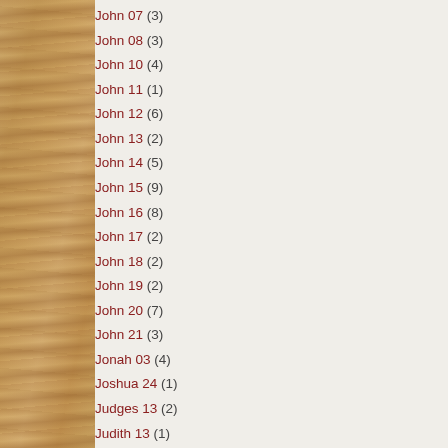John 07 (3)
John 08 (3)
John 10 (4)
John 11 (1)
John 12 (6)
John 13 (2)
John 14 (5)
John 15 (9)
John 16 (8)
John 17 (2)
John 18 (2)
John 19 (2)
John 20 (7)
John 21 (3)
Jonah 03 (4)
Joshua 24 (1)
Judges 13 (2)
Judith 13 (1)
Lamentations 02 (1)
Leviticus 13 (1)
Leviticus 19 (4)
Luke 01 (22)